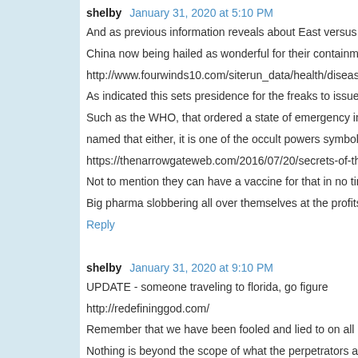shelby January 31, 2020 at 5:10 PM
And as previous information reveals about East versus West, China now being hailed as wonderful for their containment a…
http://www.fourwinds10.com/siterun_data/health/disease/new…
As indicated this sets presidence for the freaks to issue state…
Such as the WHO, that ordered a state of emergency in the… named that either, it is one of the occult powers symbols hidd…
https://thenarrowgateweb.com/2016/07/20/secrets-of-the-ow…
Not to mention they can have a vaccine for that in no time at… Big pharma slobbering all over themselves at the profits to b…
Reply
shelby January 31, 2020 at 9:10 PM
UPDATE - someone traveling to florida, go figure
http://redefininggod.com/
Remember that we have been fooled and lied to on all levels… Nothing is beyond the scope of what the perpetrators are ca…